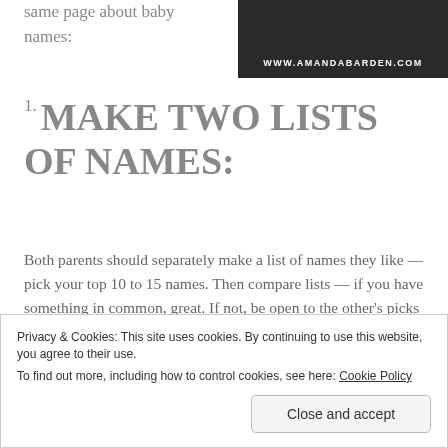same page about baby names:
[Figure (other): Dark banner image with white text reading WWW.AMANDABARDEN.COM]
1. MAKE TWO LISTS OF NAMES:
Both parents should separately make a list of names they like — pick your top 10 to 15 names. Then compare lists — if you have something in common, great. If not, be open to the other's picks and try not to veto anything right away. Try using combinations from each person's list for
Privacy & Cookies: This site uses cookies. By continuing to use this website, you agree to their use.
To find out more, including how to control cookies, see here: Cookie Policy
Close and accept